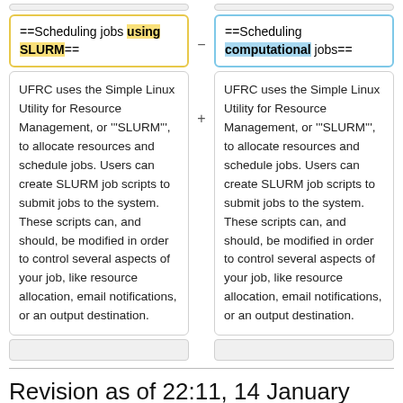==Scheduling jobs using SLURM==
==Scheduling computational jobs==
UFRC uses the Simple Linux Utility for Resource Management, or '''SLURM''', to allocate resources and schedule jobs. Users can create SLURM job scripts to submit jobs to the system. These scripts can, and should, be modified in order to control several aspects of your job, like resource allocation, email notifications, or an output destination.
UFRC uses the Simple Linux Utility for Resource Management, or '''SLURM''', to allocate resources and schedule jobs. Users can create SLURM job scripts to submit jobs to the system. These scripts can, and should, be modified in order to control several aspects of your job, like resource allocation, email notifications, or an output destination.
Revision as of 22:11, 14 January 2022